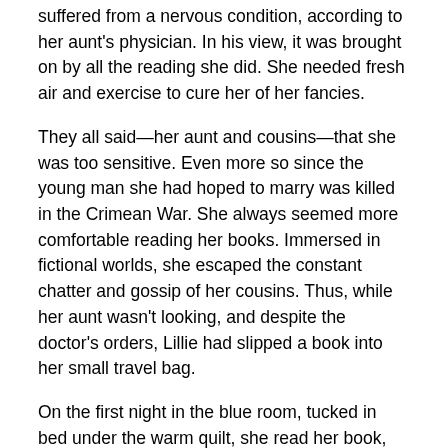suffered from a nervous condition, according to her aunt's physician. In his view, it was brought on by all the reading she did. She needed fresh air and exercise to cure her of her fancies.
They all said—her aunt and cousins—that she was too sensitive. Even more so since the young man she had hoped to marry was killed in the Crimean War. She always seemed more comfortable reading her books. Immersed in fictional worlds, she escaped the constant chatter and gossip of her cousins. Thus, while her aunt wasn't looking, and despite the doctor's orders, Lillie had slipped a book into her small travel bag.
On the first night in the blue room, tucked in bed under the warm quilt, she read her book, before blowing out the candle and drifting off to sleep. Somewhere between sleep